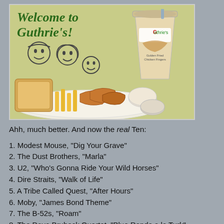[Figure (photo): Guthrie's restaurant advertisement showing 'Welcome to Guthrie's!' text in green italic, a family illustration, a plate of chicken fingers with fries and toast, a Guthrie's branded cup, and dipping sauces on a light green background.]
Ahh, much better. And now the real Ten:
1. Modest Mouse, "Dig Your Grave"
2. The Dust Brothers, "Marla"
3. U2, "Who's Gonna Ride Your Wild Horses"
4. Dire Straits, "Walk of Life"
5. A Tribe Called Quest, "After Hours"
6. Moby, "James Bond Theme"
7. The B-52s, "Roam"
8. The Dave Brubeck Quartet, "Blue Rondo a la Turk"
9. Beastie Boys, "Heart Attack Man"